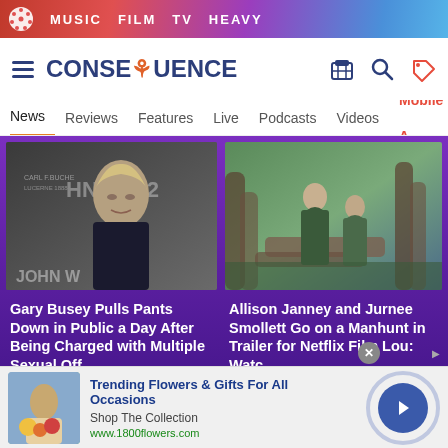MUSIC  FILM  TV  HEAVY
[Figure (screenshot): Consequence website navigation bar with hamburger menu, CONSEQUENCE logo, and icons for shop, search, and store]
News  Reviews  Features  Live  Podcasts  Videos  Mobile A
[Figure (photo): Gary Busey at John Wick 2 premiere]
Gary Busey Pulls Pants Down in Public a Day After Being Charged with Multiple Sexual Off...
[Figure (photo): Allison Janney and Jurnee Smollett standing in a forest with logs]
Allison Janney and Jurnee Smollett Go on a Manhunt in Trailer for Netflix Film Lou: Watc...
[Figure (screenshot): Advertisement for 1800flowers.com - Trending Flowers & Gifts For All Occasions, Shop The Collection]